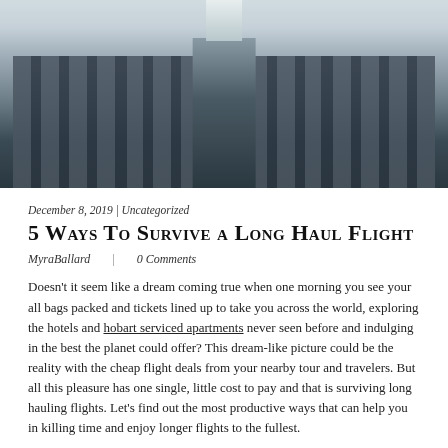[Figure (photo): Interior of a commercial airplane cabin viewed from the aisle, showing rows of seats on both sides converging toward the front, with overhead lighting visible along the ceiling.]
December 8, 2019 | Uncategorized
5 Ways To Survive a Long Haul Flight
MyraBallard   |   0 Comments
Doesn't it seem like a dream coming true when one morning you see your all bags packed and tickets lined up to take you across the world, exploring the hotels and hobart serviced apartments never seen before and indulging in the best the planet could offer? This dream-like picture could be the reality with the cheap flight deals from your nearby tour and travelers. But all this pleasure has one single, little cost to pay and that is surviving long hauling flights. Let's find out the most productive ways that can help you in killing time and enjoy longer flights to the fullest.